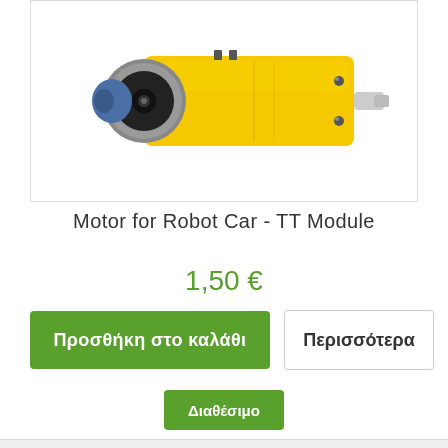[Figure (photo): Yellow TT motor module for robot car with black motor housing and gray gearbox, shown on white background]
Motor for Robot Car - TT Module
1,50 €
Προσθήκη στο καλάθι
Περισσότερα
Διαθέσιμο